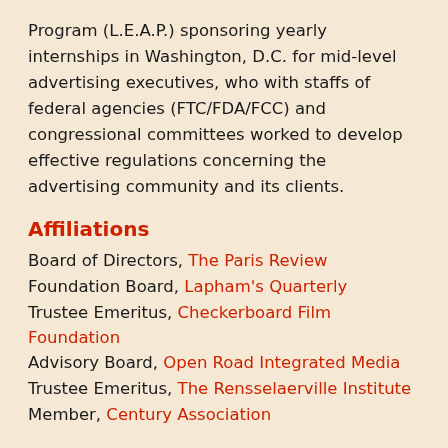Program (L.E.A.P.) sponsoring yearly internships in Washington, D.C. for mid-level advertising executives, who with staffs of federal agencies (FTC/FDA/FCC) and congressional committees worked to develop effective regulations concerning the advertising community and its clients.
Affiliations
Board of Directors, The Paris Review
Foundation Board, Lapham's Quarterly
Trustee Emeritus, Checkerboard Film Foundation
Advisory Board, Open Road Integrated Media
Trustee Emeritus, The Rensselaerville Institute
Member, Century Association
Education
B.A., M.A., Stanford University
Stanford-in-France